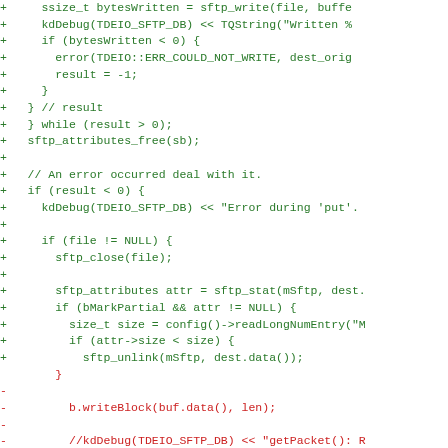[Figure (other): A code diff snippet showing added lines (green, prefixed with +) and removed lines (red, prefixed with -) from a C++ SFTP file transfer implementation.]